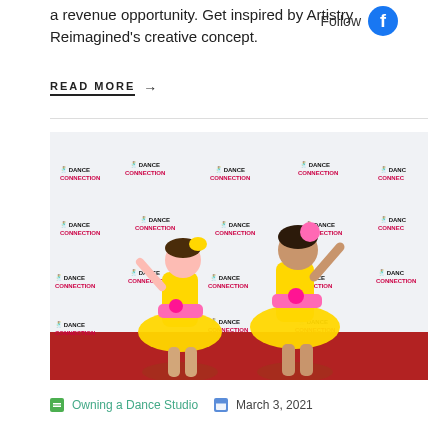a revenue opportunity. Get inspired by Artistry Reimagined's creative concept.
Follow
READ MORE →
[Figure (photo): Two young girls in yellow and pink sequin dance costumes with tutus posing in front of a Dance Connection branded step-and-repeat backdrop on a red carpet.]
Owning a Dance Studio  March 3, 2021